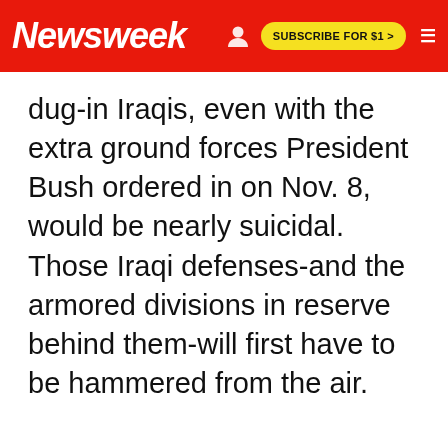Newsweek | SUBSCRIBE FOR $1 >
dug-in Iraqis, even with the extra ground forces President Bush ordered in on Nov. 8, would be nearly suicidal. Those Iraqi defenses-and the armored divisions in reserve behind them-will first have to be hammered from the air.